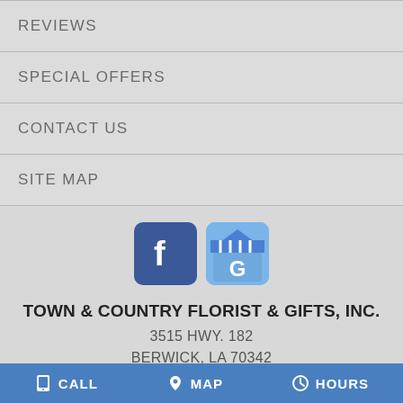REVIEWS
SPECIAL OFFERS
CONTACT US
SITE MAP
[Figure (logo): Facebook icon and Google My Business icon side by side]
TOWN & COUNTRY FLORIST & GIFTS, INC.
3515 HWY. 182
BERWICK, LA 70342
CALL   MAP   HOURS